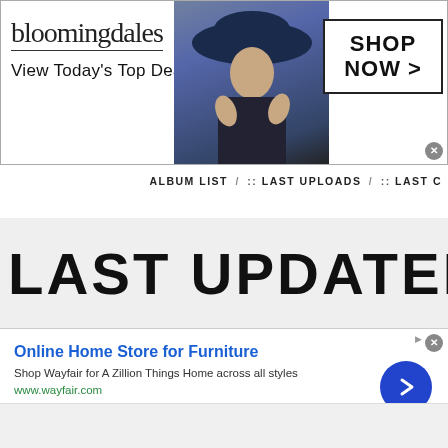[Figure (screenshot): Bloomingdales advertisement banner: logo text 'bloomingdales', tagline 'View Today's Top Deals!', model photo with blue hat, SHOP NOW > button box]
ALBUM LIST / :: LAST UPLOADS / :: LAST C
LAST UPDATED ALBU
[Figure (screenshot): Wayfair advertisement: 'Online Home Store for Furniture', 'Shop Wayfair for A Zillion Things Home across all styles', 'www.wayfair.com', blue circular arrow button]